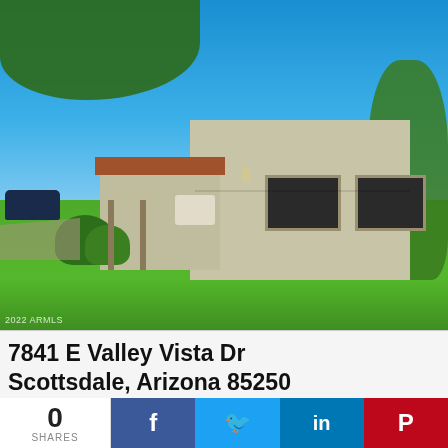[Figure (photo): Exterior photo of a single-story stucco home with flat/low roof, terra cotta tile accents on attached carport, large windows, green lawn, trees, and blue sky. Blue car parked on left side. Outdoor table and chairs visible near entrance. Watermark reads '2022 ARMLS' in lower left.]
2022 ARMLS
7841 E Valley Vista Dr
Scottsdale, Arizona 85250
0
SHARES